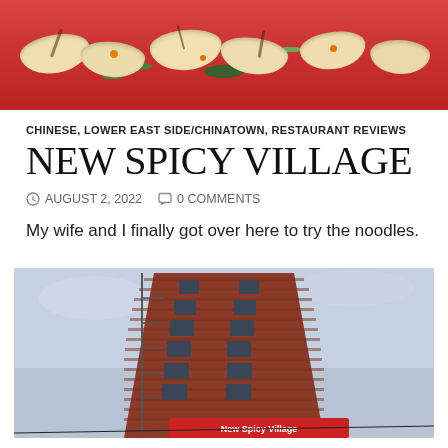[Figure (photo): Close-up photo of dumplings with dark sauce and green cilantro garnish on a red background]
CHINESE, LOWER EAST SIDE/CHINATOWN, RESTAURANT REVIEWS
NEW SPICY VILLAGE
AUGUST 2, 2022   0 COMMENTS
My wife and I finally got over here to try the noodles.
[Figure (photo): Low-angle upward shot of a tall red-brick building in NYC Chinatown with fire escapes and a New Spicy Village restaurant sign at the bottom]